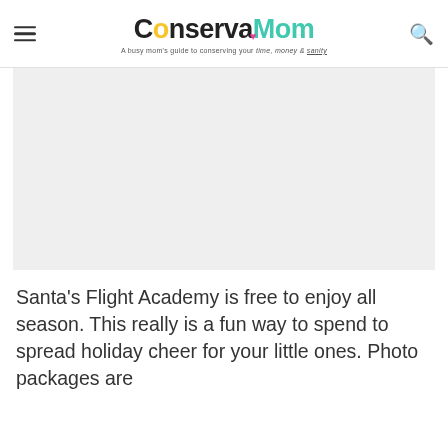ConservaMom — A busy mom's guide to conserving your time, money & sanity
[Figure (photo): Blank/placeholder image area (light gray rectangle), likely an article image that did not load]
Santa's Flight Academy is free to enjoy all season. This really is a fun way to spend to spread holiday cheer for your little ones. Photo packages are